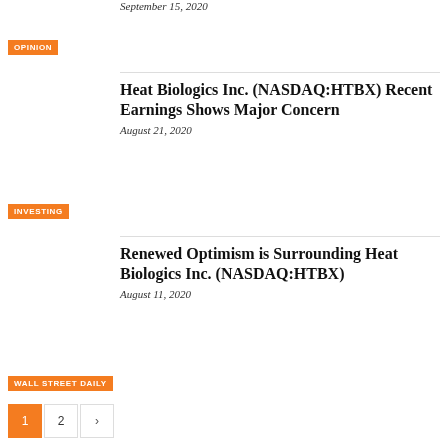September 15, 2020
OPINION
Heat Biologics Inc. (NASDAQ:HTBX) Recent Earnings Shows Major Concern
August 21, 2020
INVESTING
Renewed Optimism is Surrounding Heat Biologics Inc. (NASDAQ:HTBX)
August 11, 2020
WALL STREET DAILY